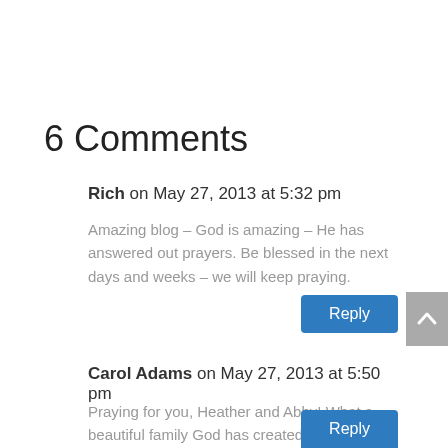6 Comments
Rich on May 27, 2013 at 5:32 pm
Amazing blog – God is amazing – He has answered out prayers. Be blessed in the next days and weeks – we will keep praying.
Reply
Carol Adams on May 27, 2013 at 5:50 pm
Praying for you, Heather and Abby! What a beautiful family God has created! Mrs. Adams
Reply